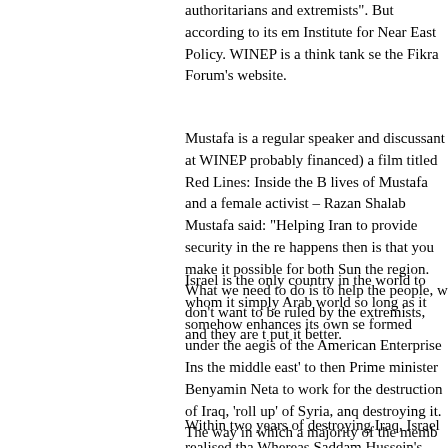authoritarians and extremists". But according to its em Institute for Near East Policy. WINEP is a think tank se the Fikra Forum's website.
Mustafa is a regular speaker and discussant at WINEP probably financed) a film titled Red Lines: Inside the B lives of Mustafa and a female activist – Razan Shalab Mustafa said: "Helping Iran to provide security in the re happens then is that you make it possible for both Sun the region. What we need to do is to help the people, don't want to be ruled by the extremists, and they are put it better.
Israel is the only country in the world to whom it simply Arab world so long as it somehow enhances its own se formed under the aegis of the American Enterprise Ins the middle east' to then Prime minister Benyamin Neta to work for the destruction of Iraq, 'roll up' of Syria, an destroying it. The way in which a majority of the memb W. Bush administration and succeeded in bringing abo secular, albeit tyrannical, regime of Saddam Hussein h not detain us. It is the sequel that concerns us now.
Within two years of destroying Iraq, Israel realised tha Whereas Saddam Hussein's Iraq had been an impene Iraq was an open chute for arms to flow from Iran to th